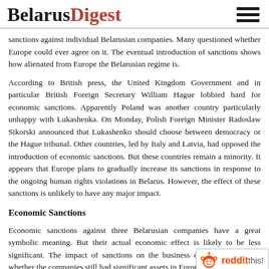BelarusDigest
sanctions against individual Belarusian companies. Many questioned whether Europe could ever agree on it. The eventual introduction of sanctions shows how alienated from Europe the Belarusian regime is.
According to British press, the United Kingdom Government and in particular British Foreign Secretary William Hague lobbied hard for economic sanctions. Apparently Poland was another country particularly unhappy with Lukashenka. On Monday, Polish Foreign Minister Radoslaw Sikorski announced that Lukashenko should choose between democracy or the Hague tribunal. Other countries, led by Italy and Latvia, had opposed the introduction of economic sanctions. But these countries remain a minority. It appears that Europe plans to gradually increase its sanctions in response to the ongoing human rights violations in Belarus. However, the effect of these sanctions is unlikely to have any major impact.
Economic Sanctions
Economic sanctions against three Belarusian companies have a great symbolic meaning. But their actual economic effect is likely to be less significant. The impact of sanctions on the business depends heavily on whether the companies still had significant assets in Europe. Discussions